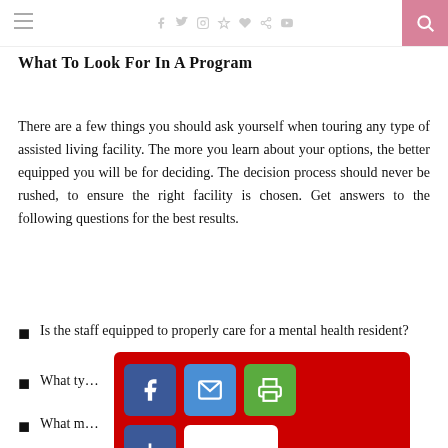Navigation bar with hamburger menu, social icons (f, twitter, instagram, pinterest, heart, g+, youtube), and search button
What to Look for in a Program
There are a few things you should ask yourself when touring any type of assisted living facility. The more you learn about your options, the better equipped you will be for deciding. The decision process should never be rushed, to ensure the right facility is chosen. Get answers to the following questions for the best results.
Is the staff equipped to properly care for a mental health resident?
What type of services will be available to the resident?
What measures will be in place?
[Figure (screenshot): Social sharing overlay popup with red background showing Facebook, email, print, more, and blank share buttons]